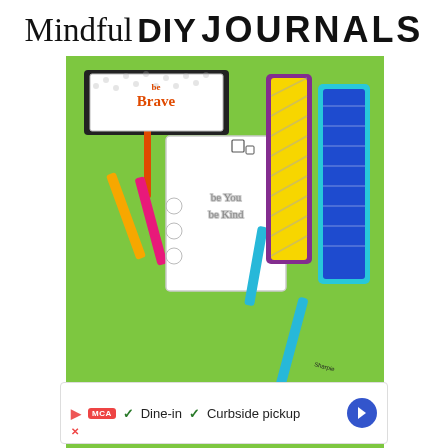Mindful DIY JOURNALS
[Figure (photo): Photo of colorful DIY mindfulness bookmarks on a green background with Sharpie markers. Bookmarks read 'be Brave', 'be You be Kind', 'be strong', and 'Believe'. Watermark reads 'Red Ted Art'.]
[Figure (infographic): Advertisement bar at the bottom showing a play button, MCA logo, checkmarks for 'Dine-in' and 'Curbside pickup', and a blue diamond navigation arrow.]